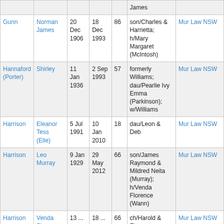| Surname | Given Name | Birth | Death | Age | Notes | Source |
| --- | --- | --- | --- | --- | --- | --- |
|  |  |  |  |  | James |  |
| Gunn | Norman James | 20 Dec 1906 | 18 Dec 1993 | 86 | son/Charles & Harrietta; h/Mary Margaret (McIntosh) | Mur Law NSW |
| Hannaford (Porter) | Shirley | 11 Jan 1936 | 2 Sep 1993 | 57 | formerly Williams; dau/Pearlie Ivy Emma (Parkinson); w/Williams | Mur Law NSW |
| Harrison | Eleanor Tess (Elle) | 5 Jul 1991 | 10 Jan 2010 | 18 | dau/Leon & Deb | Mur Law NSW |
| Harrison | Leo Murray | 9 Jan 1929 | 29 May 2012 | 66 | son/James Raymond & Mildred Neita (Murray); h/Venda Florence (Wann) | Mur Law NSW |
| Harrison | Venda Florence | 13 ... | 18 ... | 66 | ch/Harold & Florence ... | Mur Law NSW |